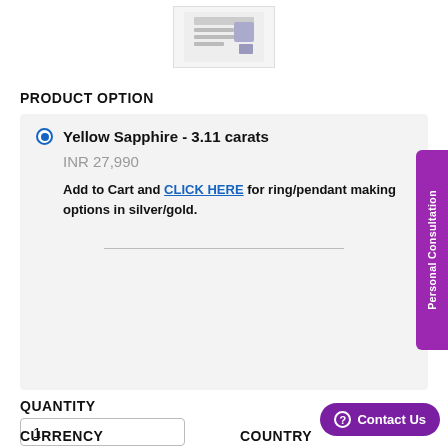[Figure (screenshot): Product thumbnail image of Yellow Sapphire gemstone in a small box]
PRODUCT OPTION
Yellow Sapphire - 3.11 carats
INR 27,990
Add to Cart and CLICK HERE for ring/pendant making options in silver/gold.
QUANTITY
1
CURRENCY
COUNTRY